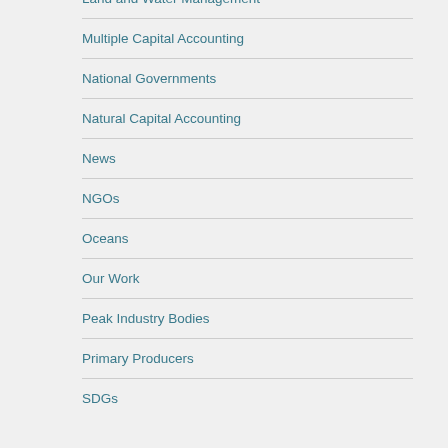Land and Water Management
Multiple Capital Accounting
National Governments
Natural Capital Accounting
News
NGOs
Oceans
Our Work
Peak Industry Bodies
Primary Producers
SDGs